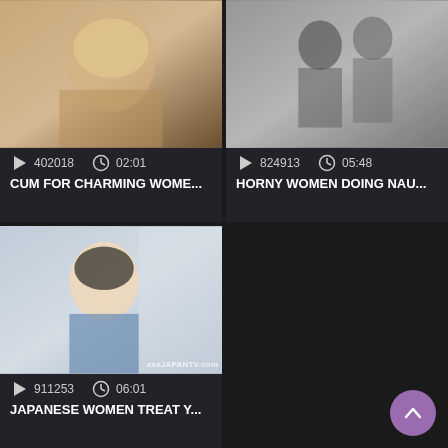[Figure (screenshot): Video thumbnail: blonde woman, warm indoor tones]
402018  02:01
CUM FOR CHARMING WOME...
[Figure (screenshot): Video thumbnail: black and white scene]
824913  05:48
HORNY WOMEN DOING NAU...
[Figure (screenshot): Video thumbnail: Asian woman smiling, xxxJAPANTV.com watermark]
911253  06:01
JAPANESE WOMEN TREAT Y...